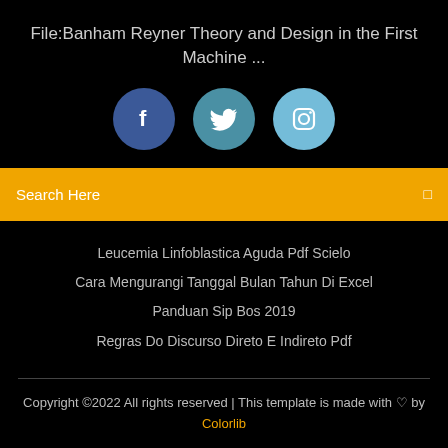File:Banham Reyner Theory and Design in the First Machine ...
[Figure (infographic): Three social media icon circles: Facebook (dark blue), Twitter (teal-blue), Instagram (light blue)]
Search Here
Leucemia Linfoblastica Aguda Pdf Scielo
Cara Mengurangi Tanggal Bulan Tahun Di Excel
Panduan Sip Bos 2019
Regras Do Discurso Direto E Indireto Pdf
Copyright ©2022 All rights reserved | This template is made with ♡ by Colorlib